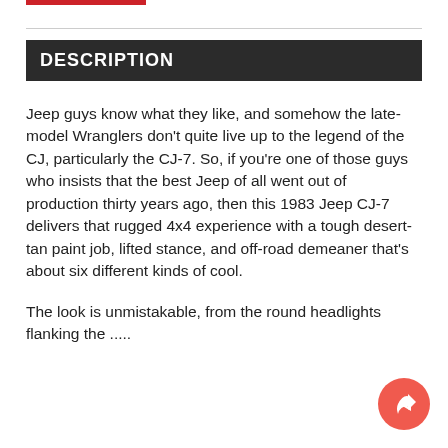DESCRIPTION
Jeep guys know what they like, and somehow the late-model Wranglers don't quite live up to the legend of the CJ, particularly the CJ-7. So, if you're one of those guys who insists that the best Jeep of all went out of production thirty years ago, then this 1983 Jeep CJ-7 delivers that rugged 4x4 experience with a tough desert-tan paint job, lifted stance, and off-road demeaner that's about six different kinds of cool.
The look is unmistakable, from the round headlights flanking the .....